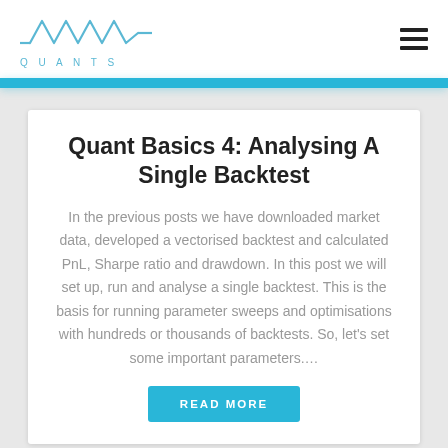[Figure (logo): QUANTS logo with wave/sine graphic in blue and text 'QUANTS' below]
Quant Basics 4: Analysing A Single Backtest
In the previous posts we have downloaded market data, developed a vectorised backtest and calculated PnL, Sharpe ratio and drawdown. In this post we will set up, run and analyse a single backtest. This is the basis for running parameter sweeps and optimisations with hundreds or thousands of backtests. So, let's set some important parameters….
READ MORE